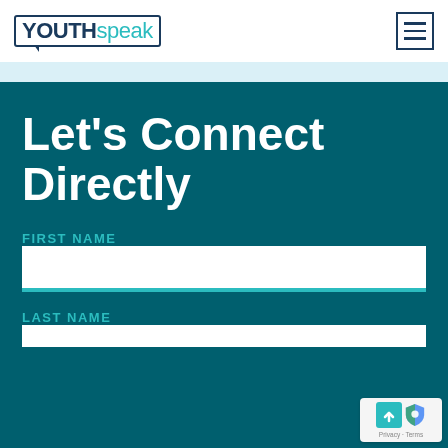YOUTHspeak
Let's Connect Directly
FIRST NAME
LAST NAME